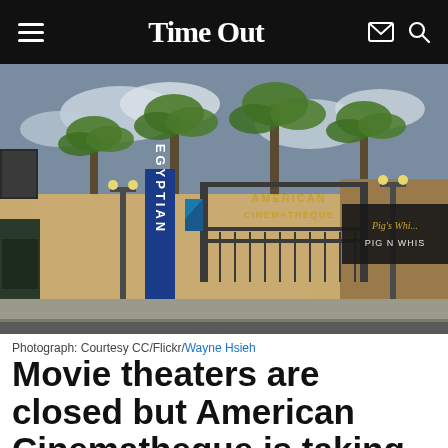Time Out
[Figure (photo): Street-level photo of the American Cinematheque at the Egyptian Theatre in Hollywood, with palm trees, the vertical EGYPTIAN neon sign, and an overhead AMERICAN CINEMATHEQUE gate sign. Pig N Whistle bar visible to the right.]
Photograph: Courtesy CC/Flickr/Wayne Hsieh
Movie theaters are closed but American Cinematheque is taking